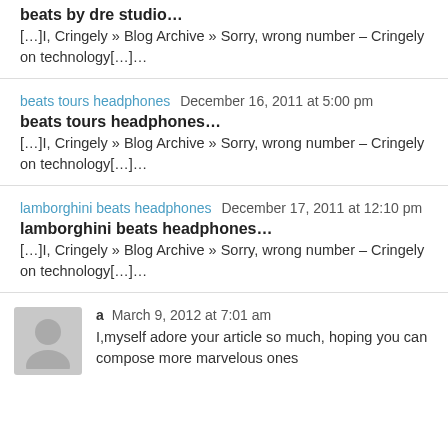beats by dre studio…
[…]I, Cringely » Blog Archive » Sorry, wrong number – Cringely on technology[…]…
beats tours headphones   December 16, 2011 at 5:00 pm
beats tours headphones…
[…]I, Cringely » Blog Archive » Sorry, wrong number – Cringely on technology[…]…
lamborghini beats headphones   December 17, 2011 at 12:10 pm
lamborghini beats headphones…
[…]I, Cringely » Blog Archive » Sorry, wrong number – Cringely on technology[…]…
a   March 9, 2012 at 7:01 am
I,myself adore your article so much, hoping you can compose more marvelous ones